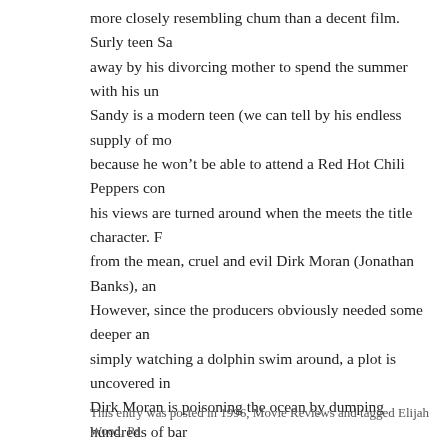more closely resembling chum than a decent film. Surly teen Sa… away by his divorcing mother to spend the summer with his un… Sandy is a modern teen (we can tell by his endless supply of mo… because he won't be able to attend a Red Hot Chili Peppers con… his views are turned around when the meets the title character. F… from the mean, cruel and evil Dirk Moran (Jonathan Banks), an… However, since the producers obviously needed some deeper an… simply watching a dolphin swim around, a plot is uncovered in … Dirk Moran is poisoning the ocean by dumping hundreds of bar… fishing grounds. Then, the movie takes a very strange turn, by i… shark, a nerdy genius boy who invents the Flippo-cam, and of a… sheriff, wanting Sandy to free Willy…I mean Flipper. Anyway, … movie expecting Shakespeare, but even the underwater dolphin … young tykes who've never seen a dolphin before might enjoy bi… shark scenes. Paul Hogan has some good moments as the gruff l… is grating as the obnoxious teen, and Flipper is, well, a dolphin. … you won't get much back.
This entry was posted in 1996, Movie Reviews and tagged Elijah Wood, Pa…